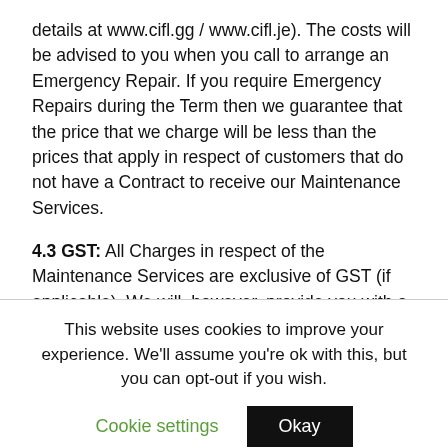details at www.cifl.gg / www.cifl.je). The costs will be advised to you when you call to arrange an Emergency Repair. If you require Emergency Repairs during the Term then we guarantee that the price that we charge will be less than the prices that apply in respect of customers that do not have a Contract to receive our Maintenance Services.
4.3 GST: All Charges in respect of the Maintenance Services are exclusive of GST (if applicable). We will, however, provide you with a GST inclusive figure when providing you with a quote for any goods or services and again when we issue an invoice to you.
This website uses cookies to improve your experience. We'll assume you're ok with this, but you can opt-out if you wish.